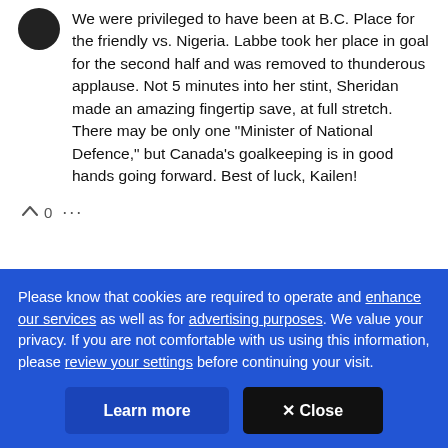[Figure (photo): User avatar: dark circular profile picture]
We were privileged to have been at B.C. Place for the friendly vs. Nigeria. Labbe took her place in goal for the second half and was removed to thunderous applause. Not 5 minutes into her stint, Sheridan made an amazing fingertip save, at full stretch. There may be only one "Minister of National Defence," but Canada's goalkeeping is in good hands going forward. Best of luck, Kailen!
^ 0 ...
Please know that cookies are required to operate and enhance our services as well as for advertising purposes. We value your privacy. If you are not comfortable with us using this information, please review your settings before continuing your visit.
Learn more
✕ Close